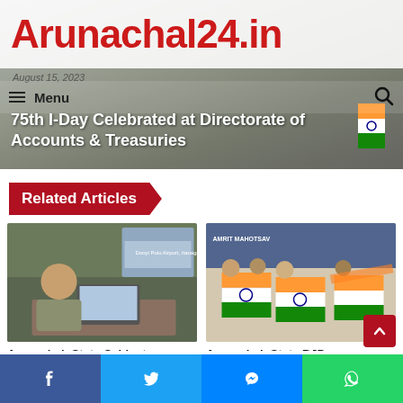[Figure (screenshot): Arunachal24.in news website header with logo, navigation menu, date, and a building/Independence Day headline photo overlay]
Arunachal24.in
Menu
75th I-Day Celebrated at Directorate of Accounts & Treasuries
Related Articles
[Figure (photo): Man working at laptop desk - Arunachal State Cabinet article thumbnail]
Arunachal: State Cabinet
[Figure (photo): Group of people holding Indian flags - Arunachal State BJP article thumbnail]
Arunachal: State BJP
[Figure (infographic): Social media sharing bar with Facebook, Twitter, Messenger, WhatsApp buttons]